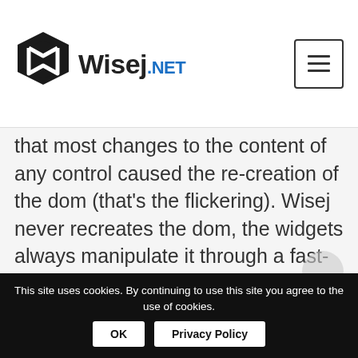Wisej.NET
that most changes to the content of any control caused the re-creation of the dom (that's the flickering). Wisej never recreates the dom, the widgets always manipulate it through a fast-dom indirection.
Best,
Luca
This site uses cookies. By continuing to use this site you agree to the use of cookies. OK  Privacy Policy